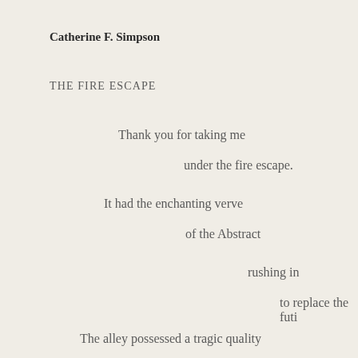Catherine F. Simpson
THE FIRE ESCAPE
Thank you for taking me
under the fire escape.
It had the enchanting verve
of the Abstract
rushing in
to replace the futi
The alley possessed a tragic quality